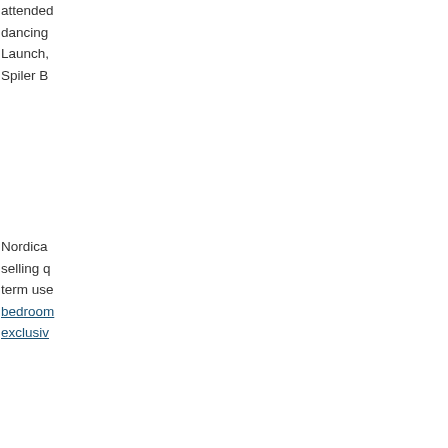attended dancing Launch, Spiler B
Nordica selling q term use bedroom exclusiv
For mor
Related
[Figure (photo): Exterior of a building with windows and awning]
Good bu happy c Sales